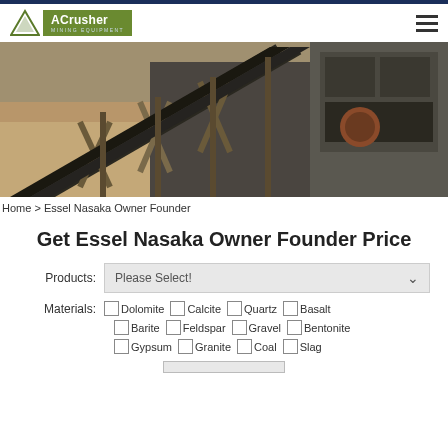[Figure (logo): ACrusher Mining Equipment logo with green background and triangle icon]
[Figure (photo): Industrial mining equipment facility with conveyor belts and crushing machinery at a quarry site]
Home > Essel Nasaka Owner Founder
Get Essel Nasaka Owner Founder Price
Products: Please Select!
Materials: Dolomite  Calcite  Quartz  Basalt  Barite  Feldspar  Gravel  Bentonite  Gypsum  Granite  Coal  Slag